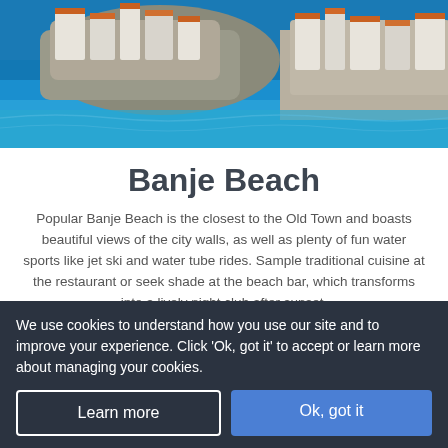[Figure (photo): Aerial/coastal view of Dubrovnik Old Town with orange-roofed stone buildings and bright blue Adriatic sea water]
Banje Beach
Popular Banje Beach is the closest to the Old Town and boasts beautiful views of the city walls, as well as plenty of fun water sports like jet ski and water tube rides. Sample traditional cuisine at the restaurant or seek shade at the beach bar, which transforms into a lively night club after sunset.
[Figure (infographic): Orange 'Launch map' button with downward pointing callout triangle arrow, overlapping a light blue background section]
We use cookies to understand how you use our site and to improve your experience. Click 'Ok, got it' to accept or learn more about managing your cookies.
Learn more
Ok, got it